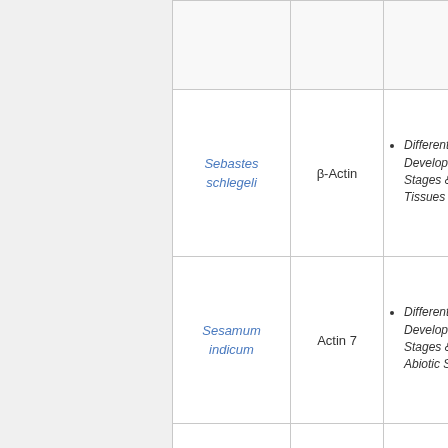| Species | Gene | Application |
| --- | --- | --- |
|  |  |  |
| Sebastes schlegeli | β-Actin | Different Developmental Stages & Tissues |
| Sesamum indicum | Actin 7 | Different Developmental Stages & Abiotic S... |
| [partial] | Actin S... | Dehydra... |